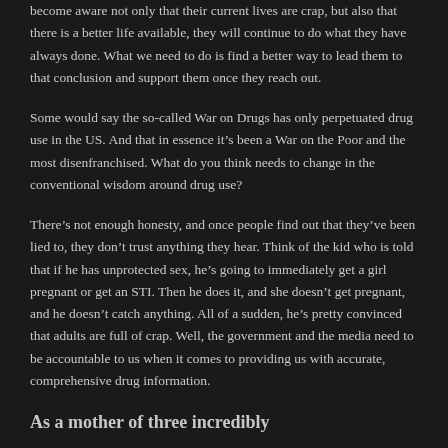become aware not only that their current lives are crap, but also that there is a better life available, they will continue to do what they have always done. What we need to do is find a better way to lead them to that conclusion and support them once they reach out.
Some would say the so-called War on Drugs has only perpetuated drug use in the US. And that in essence it’s been a War on the Poor and the most disenfranchised. What do you think needs to change in the conventional wisdom around drug use?
There’s not enough honesty, and once people find out that they’ve been lied to, they don’t trust anything they hear. Think of the kid who is told that if he has unprotected sex, he’s going to immediately get a girl pregnant or get an STI. Then he does it, and she doesn’t get pregnant, and he doesn’t catch anything. All of a sudden, he’s pretty convinced that adults are full of crap. Well, the government and the media need to be accountable to us when it comes to providing us with accurate, comprehensive drug information.
As a mother of three incredibly